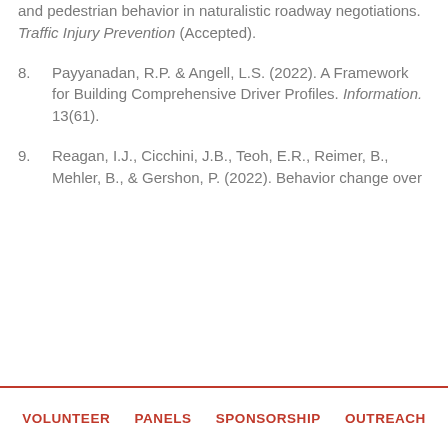Reimer, B. (2022). Interdependence of driver and pedestrian behavior in naturalistic roadway negotiations. Traffic Injury Prevention (Accepted).
8. Payyanadan, R.P. & Angell, L.S. (2022). A Framework for Building Comprehensive Driver Profiles. Information. 13(61).
9. Reagan, I.J., Cicchini, J.B., Teoh, E.R., Reimer, B., Mehler, B., & Gershon, P. (2022). Behavior change over time when driving with adaptive cruise control. Accepted for presentation at the 66th Human Factors & Ergonomics Society International Annual Meeting.
VOLUNTEER   PANELS   SPONSORSHIP   OUTREACH